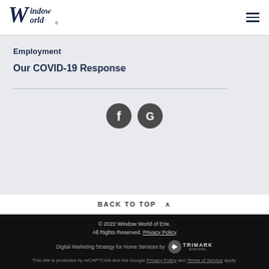[Figure (logo): Window World logo in dark navy script/serif style]
Employment
Our COVID-19 Response
[Figure (illustration): Facebook and Google social media icon circles in dark gray]
BACK TO TOP
© 2022 Window World of Erie. All Rights Reserved. Privacy Policy Digital Marketing Strategy for Home Services by Trimark Digital This site is protected by reCAPTCHA and the Google Privacy Policy and Terms of Service apply.